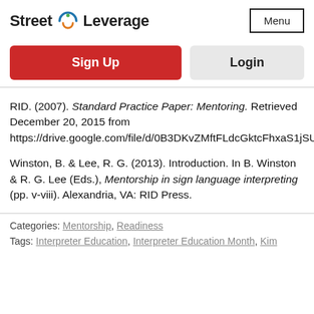[Figure (logo): Street Leverage logo with circular arrow icon in blue and orange/green]
Menu
Sign Up
Login
RID. (2007). Standard Practice Paper: Mentoring. Retrieved December 20, 2015 from https://drive.google.com/file/d/0B3DKvZMftFLdcGktcFhxaS1jSUE/view
Winston, B. & Lee, R. G. (2013). Introduction. In B. Winston & R. G. Lee (Eds.), Mentorship in sign language interpreting (pp. v-viii). Alexandria, VA: RID Press.
Categories: Mentorship, Readiness
Tags: Interpreter Education, Interpreter Education Month, Kim